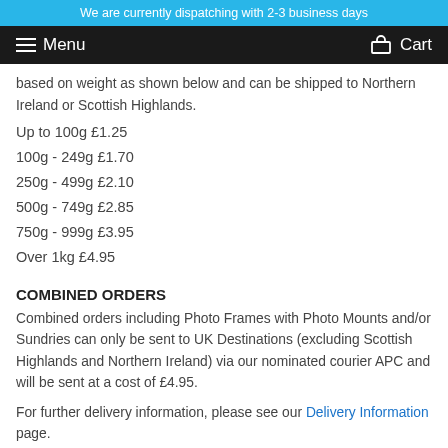We are currently dispatching with 2-3 business days
Menu  Cart
based on weight as shown below and can be shipped to Northern Ireland or Scottish Highlands.
Up to 100g £1.25
100g - 249g £1.70
250g - 499g £2.10
500g - 749g £2.85
750g - 999g £3.95
Over 1kg £4.95
COMBINED ORDERS
Combined orders including Photo Frames with Photo Mounts and/or Sundries can only be sent to UK Destinations (excluding Scottish Highlands and Northern Ireland) via our nominated courier APC and will be sent at a cost of £4.95.
For further delivery information, please see our Delivery Information page.